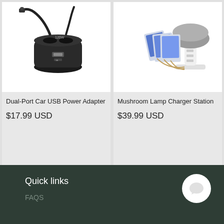[Figure (photo): Dual-Port Car USB Power Adapter - black cup holder style car charger with USB port and cigarette lighter ports]
Dual-Port Car USB Power Adapter
$17.99 USD
[Figure (photo): Mushroom Lamp Charger Station - white mushroom-shaped multi-device USB charging station with tablets and phones]
Mushroom Lamp Charger Station
$39.99 USD
Quick links
FAQS